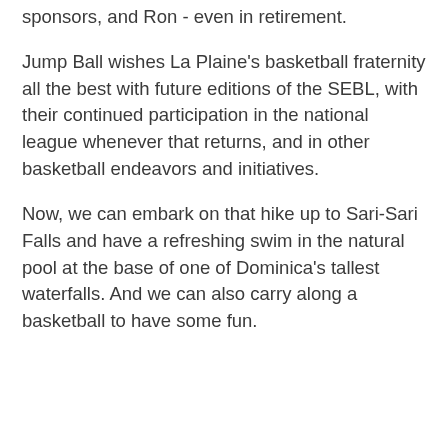sponsors, and Ron - even in retirement.
Jump Ball wishes La Plaine's basketball fraternity all the best with future editions of the SEBL, with their continued participation in the national league whenever that returns, and in other basketball endeavors and initiatives.
Now, we can embark on that hike up to Sari-Sari Falls and have a refreshing swim in the natural pool at the base of one of Dominica's tallest waterfalls. And we can also carry along a basketball to have some fun.